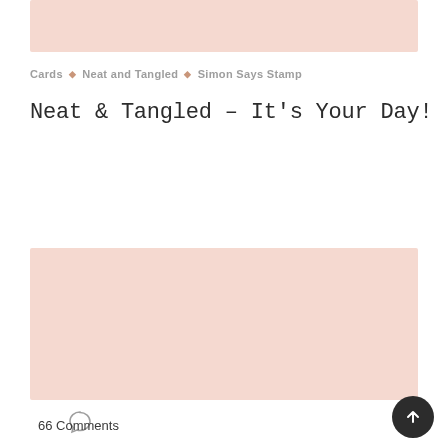[Figure (photo): Top pink/blush placeholder image block]
Cards ♦ Neat and Tangled ♦ Simon Says Stamp
Neat & Tangled – It's Your Day!
[Figure (photo): Main blush/pink placeholder image block]
66 Comments